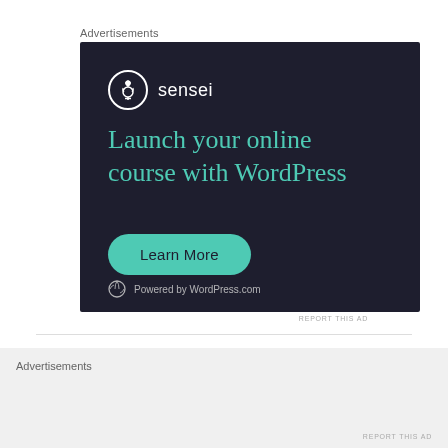Advertisements
[Figure (illustration): Sensei advertisement: dark navy background with Sensei logo (white circle with tree icon and 'sensei' text), headline 'Launch your online course with WordPress' in teal, a teal 'Learn More' pill button, and 'Powered by WordPress.com' at the bottom.]
REPORT THIS AD
Ian Street
Advertisements
REPORT THIS AD